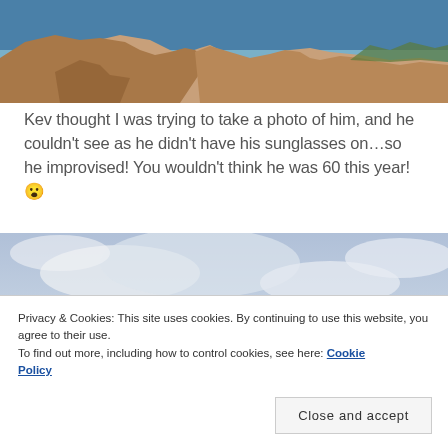[Figure (photo): Rocky coastal landscape with blue sea in the background and brown rocks in the foreground, sunny day]
Kev thought I was trying to take a photo of him, and he couldn't see as he didn't have his sunglasses on…so he improvised! You wouldn't think he was 60 this year! 😮
[Figure (photo): Photo of a man on a boat with cloudy sky and mountains in background, with swimwear visible at bottom]
Privacy & Cookies: This site uses cookies. By continuing to use this website, you agree to their use.
To find out more, including how to control cookies, see here: Cookie Policy
Close and accept